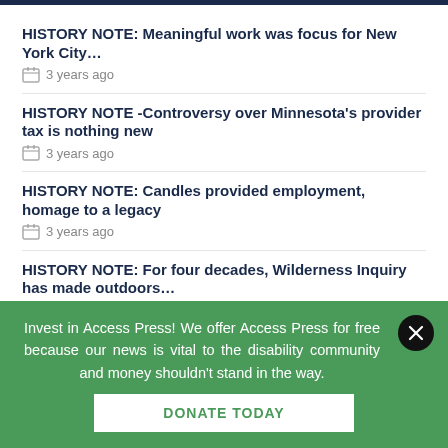HISTORY NOTE: Meaningful work was focus for New York City…
3 years ago
HISTORY NOTE -Controversy over Minnesota's provider tax is nothing new
3 years ago
HISTORY NOTE: Candles provided employment, homage to a legacy
3 years ago
HISTORY NOTE: For four decades, Wilderness Inquiry has made outdoors…
4 years ago
Invest in Access Press! We offer Access Press for free because our news is vital to the disability community and money shouldn't stand in the way.
DONATE TODAY